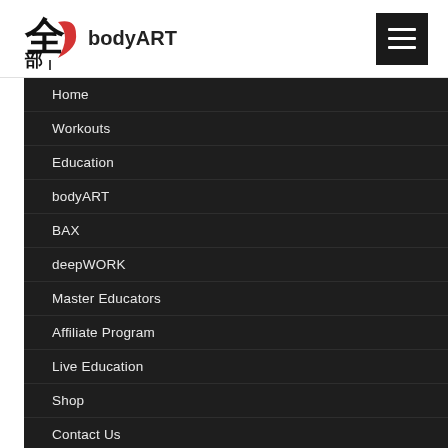[Figure (logo): bodyART logo with Asian calligraphy character and crescent shape, followed by text 'bodyART']
Home
Workouts
Education
bodyART
BAX
deepWORK
Master Educators
Affiliate Program
Live Education
Shop
Contact Us